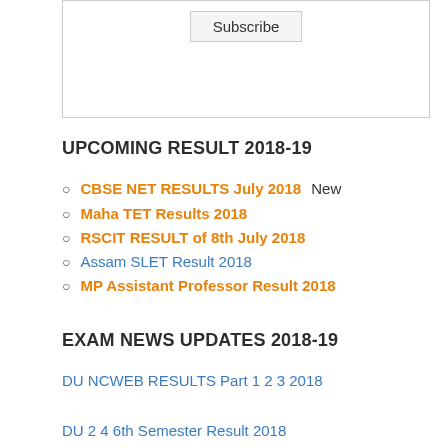[Figure (other): Subscribe button inside a bordered box]
UPCOMING RESULT 2018-19
CBSE NET RESULTS July 2018 New
Maha TET Results 2018
RSCIT RESULT of 8th July 2018
Assam SLET Result 2018
MP Assistant Professor Result 2018
EXAM NEWS UPDATES 2018-19
DU NCWEB RESULTS Part 1 2 3 2018
DU 2 4 6th Semester Result 2018